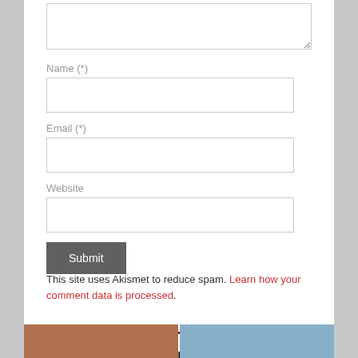(textarea)
Name (*)
Email (*)
Website
Submit
This site uses Akismet to reduce spam. Learn how your comment data is processed.
RELATED ARTICLES »
[Figure (photo): Two thumbnail images for related articles section]